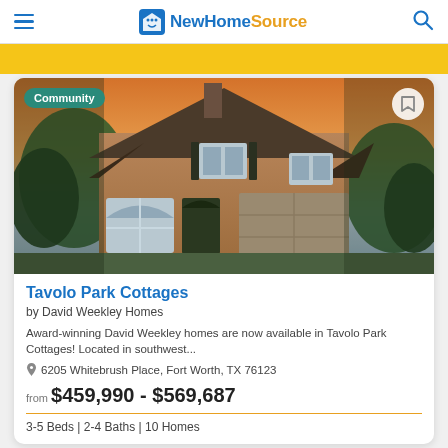NewHomeSource
[Figure (photo): Two-story brick house with dark shutters, arched front door, two-car garage, trees on either side, photographed at sunset. 'Community' badge in upper left, bookmark icon in upper right.]
Tavolo Park Cottages
by David Weekley Homes
Award-winning David Weekley homes are now available in Tavolo Park Cottages! Located in southwest...
6205 Whitebrush Place, Fort Worth, TX 76123
from $459,990 - $569,687
3-5 Beds | 2-4 Baths | 10 Homes